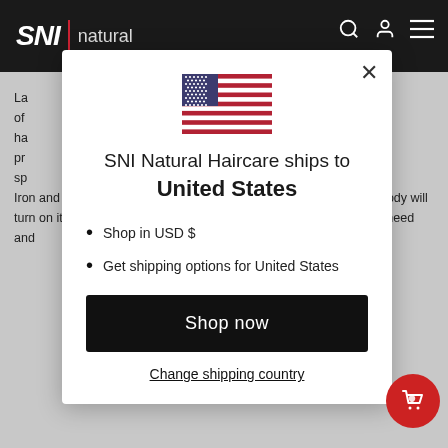SNI | natural
[Figure (screenshot): US flag emoji / illustration displayed at top center of modal]
SNI Natural Haircare ships to United States
Shop in USD $
Get shipping options for United States
Shop now
Change shipping country
La... of... ha... pr... sp... Iron and Vitamin B deficiencies is another culprit of hair loss. Your body will turn on its 'ration mode' to supply these essential to other places of need and